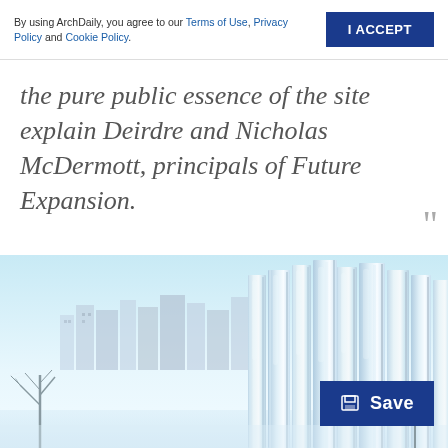By using ArchDaily, you agree to our Terms of Use, Privacy Policy and Cookie Policy.
I ACCEPT
the pure public essence of the site explain Deirdre and Nicholas McDermott, principals of Future Expansion.
[Figure (illustration): Architectural rendering of tall vertical metallic/glass panels or fins in a winter urban setting with snow-covered trees and city buildings in the background. Light blue sky. A 'Save' button overlay is visible in the bottom right corner.]